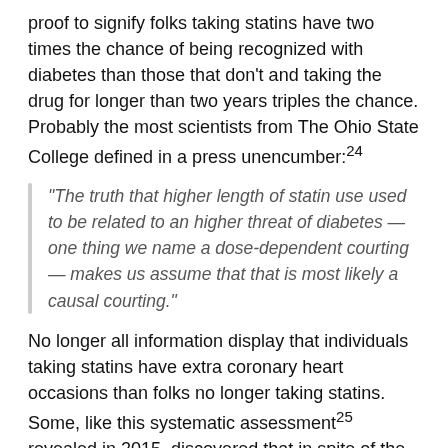proof to signify folks taking statins have two times the chance of being recognized with diabetes than those that don't and taking the drug for longer than two years triples the chance. Probably the most scientists from The Ohio State College defined in a press unencumber:24
“The truth that higher length of statin use used to be related to an higher threat of diabetes — one thing we name a dose-dependent courting — makes us assume that that is most likely a causal courting.”
No longer all information display that individuals taking statins have extra coronary heart occasions than folks no longer taking statins. Some, like this systematic assessment25 revealed in 2015, discovered that in spite of the added dangers of dementia and diabetes, folks taking statins may just reside a median of most effective 3.2 to 4.1 days longer than in the event that they didn’t take the drug.